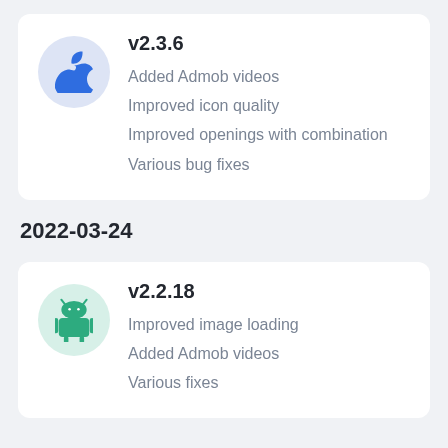v2.3.6
Added Admob videos
Improved icon quality
Improved openings with combination
Various bug fixes
2022-03-24
v2.2.18
Improved image loading
Added Admob videos
Various fixes